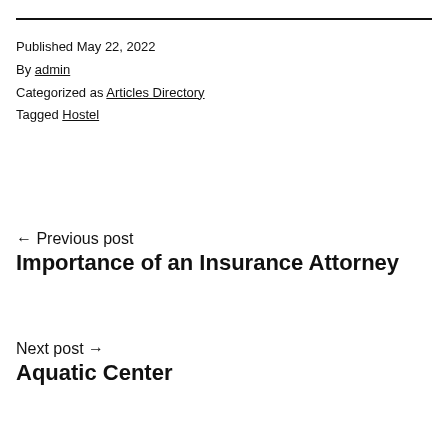Published May 22, 2022
By admin
Categorized as Articles Directory
Tagged Hostel
← Previous post
Importance of an Insurance Attorney
Next post →
Aquatic Center